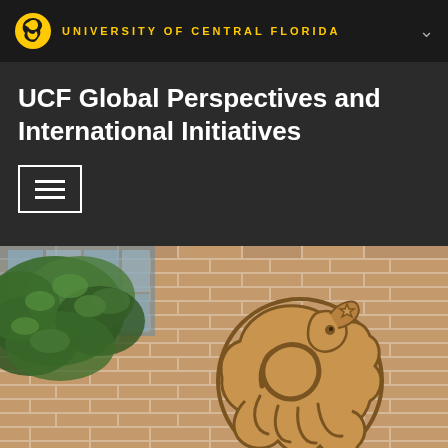UNIVERSITY OF CENTRAL FLORIDA
UCF Global Perspectives and International Initiatives
[Figure (screenshot): Hamburger menu navigation button with three horizontal white lines inside a white border rectangle on dark background]
[Figure (photo): UCF Pegasus logo mounted on brick wall exterior of building, with green tree visible in upper left corner against glass building facade]